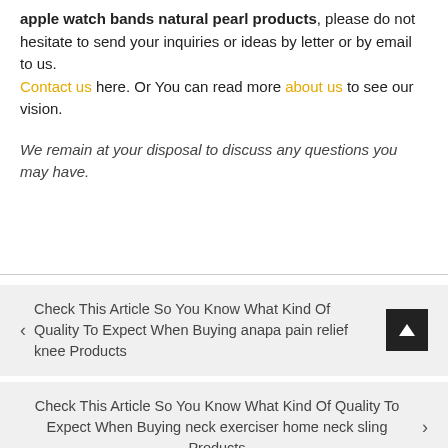apple watch bands natural pearl products, please do not hesitate to send your inquiries or ideas by letter or by email to us. Contact us here. Or You can read more about us to see our vision.
We remain at your disposal to discuss any questions you may have.
Check This Article So You Know What Kind Of Quality To Expect When Buying anapa pain relief knee Products
Check This Article So You Know What Kind Of Quality To Expect When Buying neck exerciser home neck sling Products